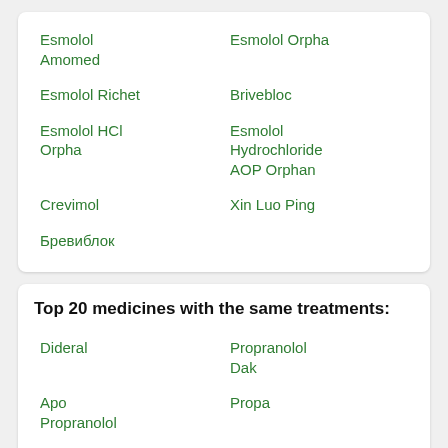Esmolol Amomed
Esmolol Orpha
Esmolol Richet
Brivebloc
Esmolol HCl Orpha
Esmolol Hydrochloride AOP Orphan
Crevimol
Xin Luo Ping
Бревиблок
Top 20 medicines with the same treatments:
Dideral
Propranolol Dak
Apo Propranolol
Propa
Hemangiol
Huma-Pronol
Гемангиол
Propra-ratiopharm
Propranolol-CT
Sumial